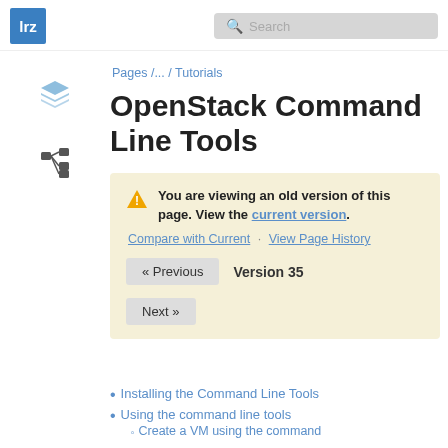lrz | Search
[Figure (logo): LRZ blue square logo with white 'lrz' text]
[Figure (screenshot): Layers icon (sidebar navigation)]
[Figure (screenshot): Tree/hierarchy icon (sidebar navigation)]
Pages / ... / Tutorials
OpenStack Command Line Tools
You are viewing an old version of this page. View the current version.
Compare with Current · View Page History
« Previous  Version 35
Next »
Installing the Command Line Tools
Using the command line tools
Create a VM using the command